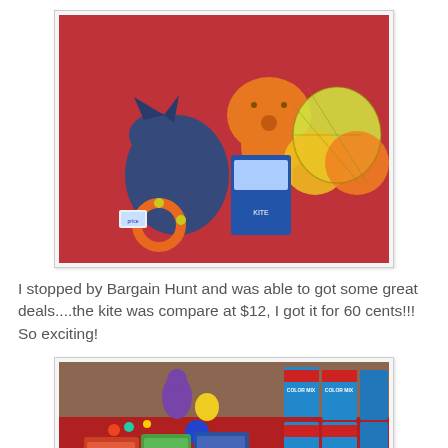[Figure (photo): Photo of bargain hunt purchases on a red surface: stuffed animal toys (blue and orange), a net bag of colorful plastic balls, a kite package, and a toy ring with bells.]
I stopped by Bargain Hunt and was able to got some great deals....the kite was compare at $12, I got it for 60 cents!!! So exciting!
[Figure (photo): Photo of a large collection of bargain hunt toy purchases spread out on a red surface: rubber figures, packaged toys, bags of small items, and boxed items.]